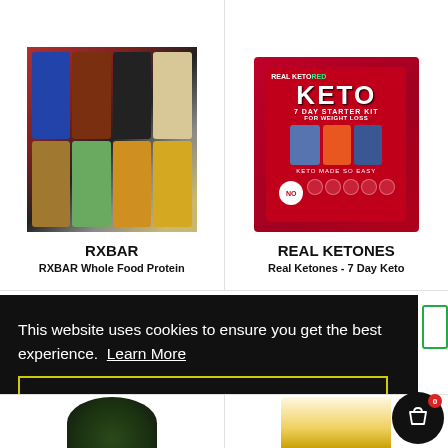[Figure (photo): RXBAR Whole Food Protein bars arranged in two rows of four, showing multiple flavors including blue, brown/chocolate, black, cream, tan, green, orange and yellow packaging]
RXBAR
RXBAR Whole Food Protein
[Figure (photo): Real Ketones 7 Day Starter Kit for Weight Loss product box with red background showing keto supplements, drinks, and bars]
REAL KETONES
Real Ketones - 7 Day Keto
This website uses cookies to ensure you get the best experience.  Learn More
Got it!
[Figure (photo): Partial view of two product containers at bottom of page]